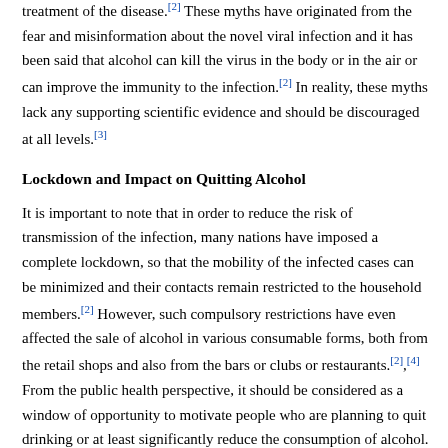prevailing about the role of alcohol intake in the prevention and treatment of the disease.[2] These myths have originated from the fear and misinformation about the novel viral infection and it has been said that alcohol can kill the virus in the body or in the air or can improve the immunity to the infection.[2] In reality, these myths lack any supporting scientific evidence and should be discouraged at all levels.[3]
Lockdown and Impact on Quitting Alcohol
It is important to note that in order to reduce the risk of transmission of the infection, many nations have imposed a complete lockdown, so that the mobility of the infected cases can be minimized and their contacts remain restricted to the household members.[2] However, such compulsory restrictions have even affected the sale of alcohol in various consumable forms, both from the retail shops and also from the bars or clubs or restaurants.[2],[4] From the public health perspective, it should be considered as a window of opportunity to motivate people who are planning to quit drinking or at least significantly reduce the consumption of alcohol.[3]
...